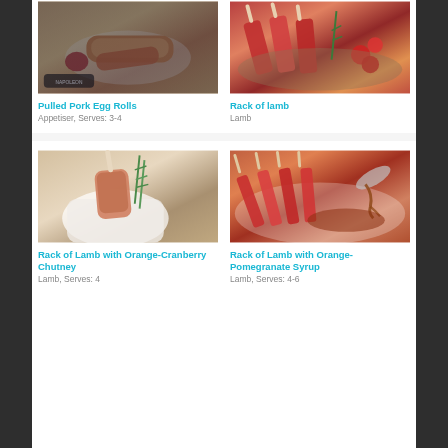[Figure (photo): Pulled pork egg rolls on a plate with dipping sauce, Napoleon branding visible]
Pulled Pork Egg Rolls
Appetiser, Serves: 3-4
[Figure (photo): Rack of lamb with cherry tomatoes and rosemary on a platter]
Rack of lamb
Lamb
[Figure (photo): Rack of lamb chop with rosemary in a white cloth/napkin]
Rack of Lamb with Orange-Cranberry Chutney
Lamb, Serves: 4
[Figure (photo): Rack of lamb with sauce being poured from a spoon]
Rack of Lamb with Orange-Pomegranate Syrup
Lamb, Serves: 4-6